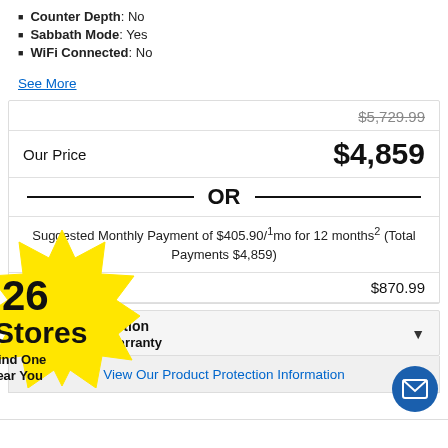Counter Depth: No
Sabbath Mode: Yes
WiFi Connected: No
See More
| $5,729.99 (strikethrough) |  |
| Our Price | $4,859 |
| OR |  |
| Suggested Monthly Payment of $405.90/1mo for 12 months2 (Total Payments $4,859) |  |
|  | $870.99 |
Product Protection
No Extended Warranty
View Our Product Protection Information